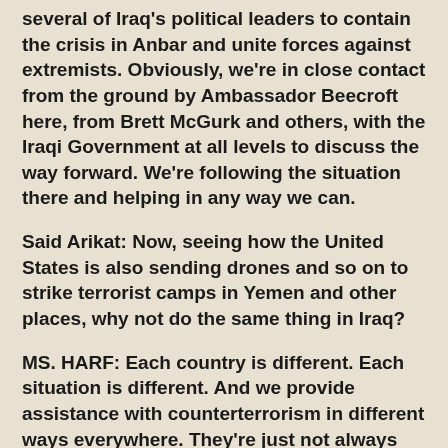several of Iraq's political leaders to contain the crisis in Anbar and unite forces against extremists. Obviously, we're in close contact from the ground by Ambassador Beecroft here, from Brett McGurk and others, with the Iraqi Government at all levels to discuss the way forward. We're following the situation there and helping in any way we can.
Said Arikat: Now, seeing how the United States is also sending drones and so on to strike terrorist camps in Yemen and other places, why not do the same thing in Iraq?
MS. HARF: Each country is different. Each situation is different. And we provide assistance with counterterrorism in different ways everywhere. They're just not always comparable situations.
Said Arikat: Is that because there is a lack of